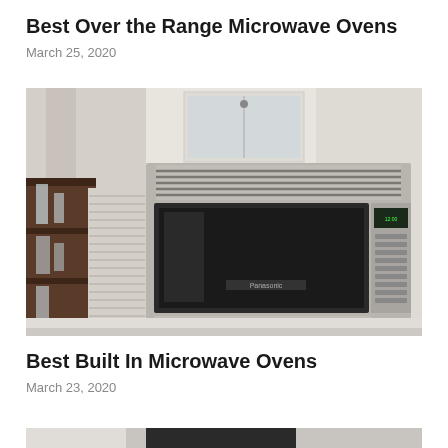Best Over the Range Microwave Ovens
March 25, 2020
[Figure (photo): Photo of a built-in over-the-range microwave oven installed in white kitchen cabinetry, with ventilation grilles on top and bottom, dark glass door, and digital control panel on the right side.]
Best Built In Microwave Ovens
March 23, 2020
[Figure (photo): Partial photo of another microwave oven, cropped at the bottom of the page.]